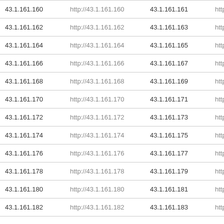| 43.1.161.160 | http://43.1.161.160 | 43.1.161.161 | http://43.1.16 |
| 43.1.161.162 | http://43.1.161.162 | 43.1.161.163 | http://43.1.16 |
| 43.1.161.164 | http://43.1.161.164 | 43.1.161.165 | http://43.1.16 |
| 43.1.161.166 | http://43.1.161.166 | 43.1.161.167 | http://43.1.16 |
| 43.1.161.168 | http://43.1.161.168 | 43.1.161.169 | http://43.1.16 |
| 43.1.161.170 | http://43.1.161.170 | 43.1.161.171 | http://43.1.16 |
| 43.1.161.172 | http://43.1.161.172 | 43.1.161.173 | http://43.1.16 |
| 43.1.161.174 | http://43.1.161.174 | 43.1.161.175 | http://43.1.16 |
| 43.1.161.176 | http://43.1.161.176 | 43.1.161.177 | http://43.1.16 |
| 43.1.161.178 | http://43.1.161.178 | 43.1.161.179 | http://43.1.16 |
| 43.1.161.180 | http://43.1.161.180 | 43.1.161.181 | http://43.1.16 |
| 43.1.161.182 | http://43.1.161.182 | 43.1.161.183 | http://43.1.16 |